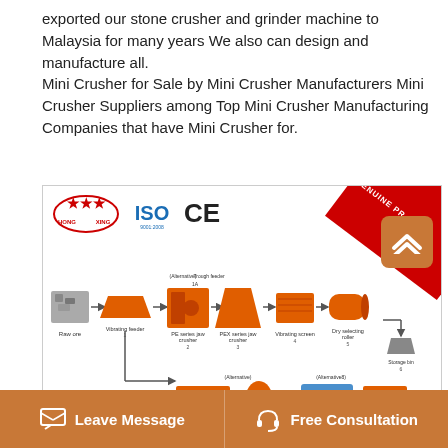exported our stone crusher and grinder machine to Malaysia for many years We also can design and manufacture all.
Mini Crusher for Sale by Mini Crusher Manufacturers Mini Crusher Suppliers among Top Mini Crusher Manufacturing Companies that have Mini Crusher for.
[Figure (engineering-diagram): Hong Xing brand stone crushing process flow diagram showing: Raw ore → Vibrating feeder → PE series jaw crusher → PEX series jaw crusher → Vibrating screen → Dry selecting roller → Storage bin. Alternative paths include Trough feeder (1A), High frequency screen (3A), Spiral classifier (9), Electric magnetic vibrating feeder (7A), Pendulum feeder (7). ISO and CE certification marks shown. Red diagonal 'GENUINE PRO' banner in top right.]
Leave Message
Free Consultation